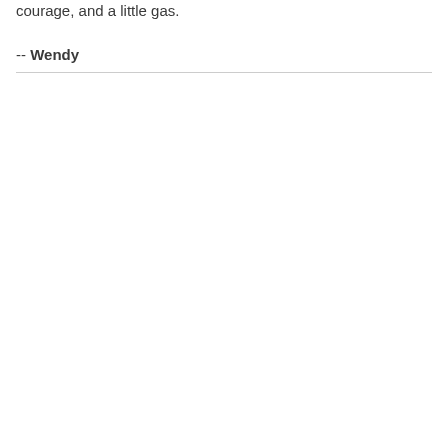courage, and a little gas.
-- Wendy